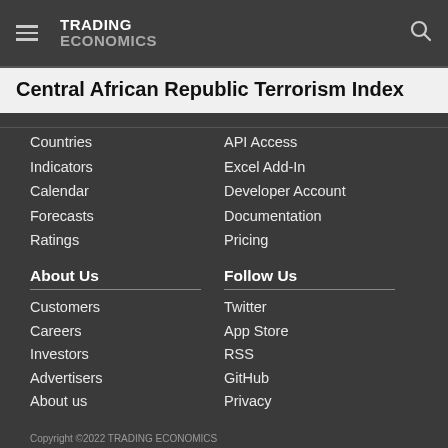TRADING ECONOMICS
Central African Republic Terrorism Index
Countries
Indicators
Calendar
Forecasts
Ratings
API Access
Excel Add-In
Developer Account
Documentation
Pricing
About Us
Follow Us
Customers
Careers
Investors
Advertisers
About us
Twitter
App Store
RSS
GitHub
Privacy
Copyright ©2022 TRADING ECONOMICS
All Rights Reserved